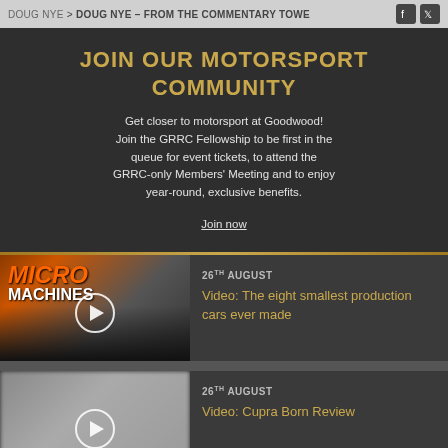DOUG NYE > DOUG NYE – FROM THE COMMENTARY TOWER
JOIN OUR MOTORSPORT COMMUNITY
Get closer to motorsport at Goodwood! Join the GRRC Fellowship to be first in the queue for event tickets, to attend the GRRC-only Members' Meeting and to enjoy year-round, exclusive benefits.
Join now
[Figure (photo): Thumbnail image with MICRO MACHINES title overlay and cars racing, with play button]
26th AUGUST
Video: The eight smallest production cars ever made
[Figure (photo): Blurred video thumbnail with play button]
26th AUGUST
Video: Cupra Born Review